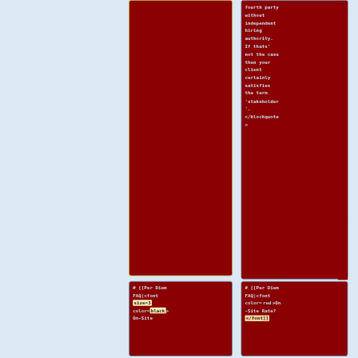fourth party without independent hiring authority. If thats' not the case then your client certainly satisfies the term 'stakeholder'. </blockquote>
# [[Per Diem FAQ|<font size=3 color=black>On-Site
# [[Per Diem FAQ|<font color=red>On-Site Rate? </font]]